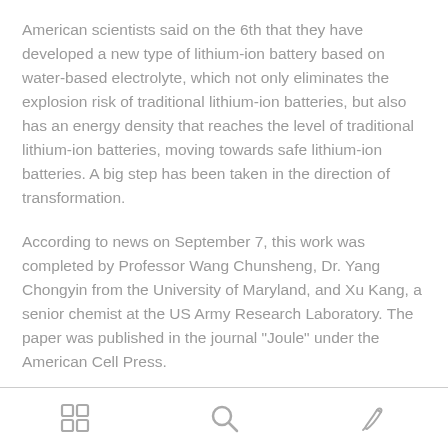American scientists said on the 6th that they have developed a new type of lithium-ion battery based on water-based electrolyte, which not only eliminates the explosion risk of traditional lithium-ion batteries, but also has an energy density that reaches the level of traditional lithium-ion batteries, moving towards safe lithium-ion batteries. A big step has been taken in the direction of transformation.
According to news on September 7, this work was completed by Professor Wang Chunsheng, Dr. Yang Chongyin from the University of Maryland, and Xu Kang, a senior chemist at the US Army Research Laboratory. The paper was published in the journal "Joule" under the American Cell Press.
[grid icon] [search icon] [edit icon]